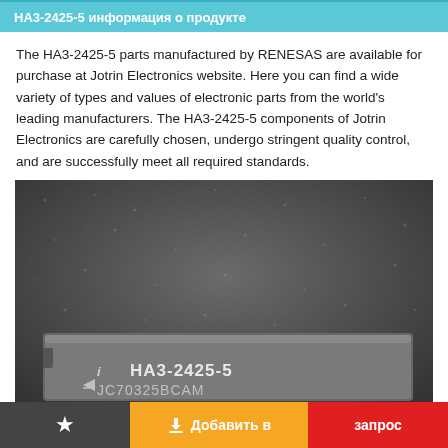HA3-2425-5 информация о продукте
The HA3-2425-5 parts manufactured by RENESAS are available for purchase at Jotrin Electronics website. Here you can find a wide variety of types and values of electronic parts from the world's leading manufacturers. The HA3-2425-5 components of Jotrin Electronics are carefully chosen, undergo stringent quality control, and are successfully meet all required standards.
[Figure (photo): Close-up photograph of an electronic integrated circuit chip with markings 'HA3-2425-5' and 'JC70325BCAM' on a dark textured background]
★  Добавить в  запрос